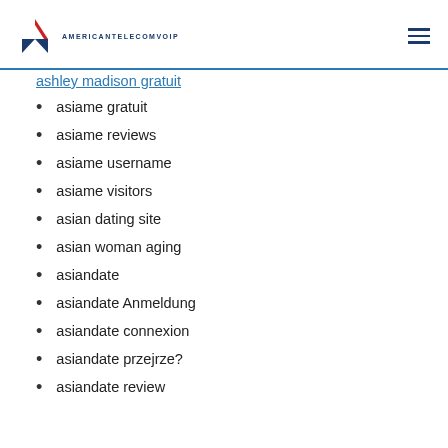AMERICANTELECOMVOIP
ashley madison gratuit
asiame gratuit
asiame reviews
asiame username
asiame visitors
asian dating site
asian woman aging
asiandate
asiandate Anmeldung
asiandate connexion
asiandate przejrze?
asiandate review